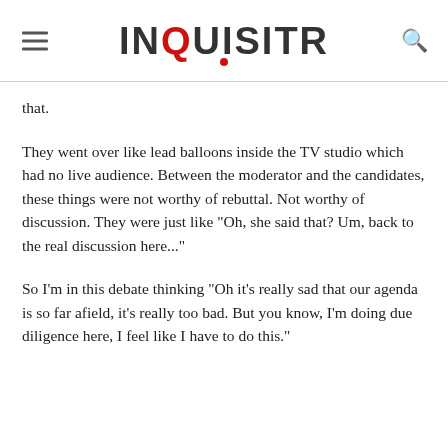INQUISITR
that.
They went over like lead balloons inside the TV studio which had no live audience. Between the moderator and the candidates, these things were not worthy of rebuttal. Not worthy of discussion. They were just like "Oh, she said that? Um, back to the real discussion here..."
So I'm in this debate thinking "Oh it's really sad that our agenda is so far afield, it's really too bad. But you know, I'm doing due diligence here, I feel like I have to do this."